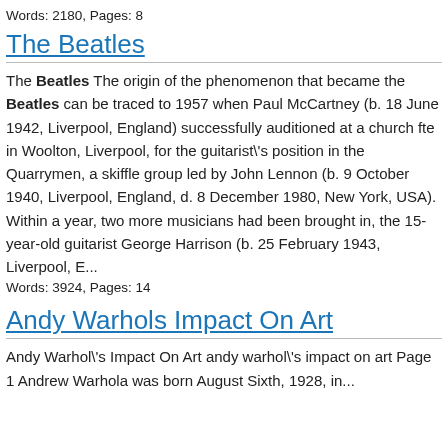Words: 2180, Pages: 8
The Beatles
The Beatles The origin of the phenomenon that became the Beatles can be traced to 1957 when Paul McCartney (b. 18 June 1942, Liverpool, England) successfully auditioned at a church fte in Woolton, Liverpool, for the guitarist\'s position in the Quarrymen, a skiffle group led by John Lennon (b. 9 October 1940, Liverpool, England, d. 8 December 1980, New York, USA). Within a year, two more musicians had been brought in, the 15-year-old guitarist George Harrison (b. 25 February 1943, Liverpool, E...
Words: 3924, Pages: 14
Andy Warhols Impact On Art
Andy Warhol\'s Impact On Art andy warhol\'s impact on art Page 1 Andrew Warhola was born August Sixth, 1928, in...